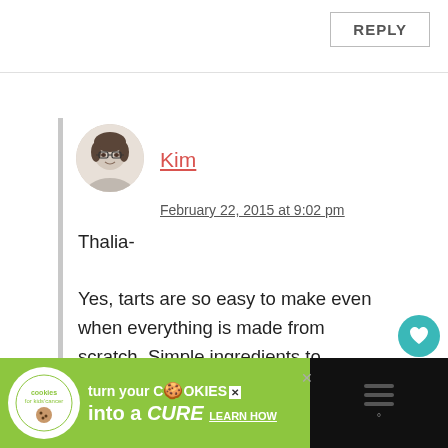REPLY
[Figure (photo): Circular avatar photo of a woman with glasses and dark hair against a light background]
Kim
February 22, 2015 at 9:02 pm
Thalia-

Yes, tarts are so easy to make even when everything is made from scratch. Simple ingredients to showcase the star – fresh fruit! Thanks for stopping by. – Kim
[Figure (other): Cookies for Kids Cancer advertisement banner at the bottom of the page]